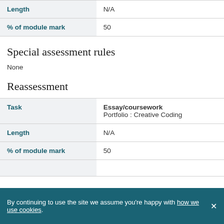| Length | N/A |
| % of module mark | 50 |
Special assessment rules
None
Reassessment
| Task | Essay/coursework
Portfolio : Creative Coding |
| Length | N/A |
| % of module mark | 50 |
By continuing to use the site we assume you're happy with how we use cookies.